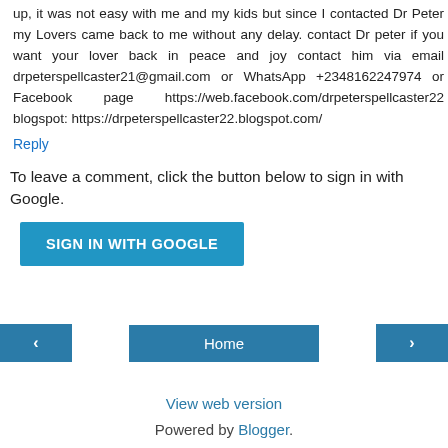up, it was not easy with me and my kids but since I contacted Dr Peter my Lovers came back to me without any delay. contact Dr peter if you want your lover back in peace and joy contact him via email drpeterspellcaster21@gmail.com or WhatsApp +2348162247974 or Facebook page https://web.facebook.com/drpeterspellcaster22 blogspot: https://drpeterspellcaster22.blogspot.com/
Reply
To leave a comment, click the button below to sign in with Google.
[Figure (other): SIGN IN WITH GOOGLE button - blue rectangular button]
[Figure (other): Navigation bar with left arrow button, Home button, and right arrow button]
View web version
Powered by Blogger.